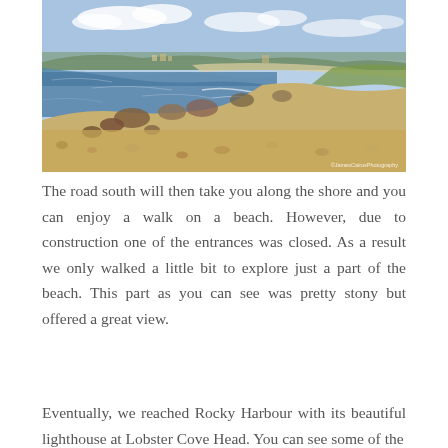[Figure (photo): Coastal beach scene showing rocky shoreline with stones and boulders, blue water on the left, green hills and small buildings visible in the background, blue sky with white clouds above.]
The road south will then take you along the shore and you can enjoy a walk on a beach. However, due to construction one of the entrances was closed. As a result we only walked a little bit to explore just a part of the beach. This part as you can see was pretty stony but offered a great view.
Eventually, we reached Rocky Harbour with its beautiful lighthouse at Lobster Cove Head. You can see some of the